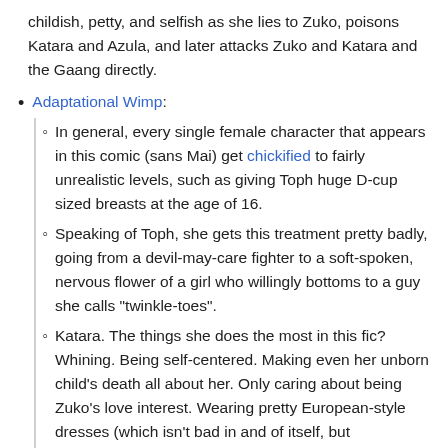childish, petty, and selfish as she lies to Zuko, poisons Katara and Azula, and later attacks Zuko and Katara and the Gaang directly.
Adaptational Wimp:
In general, every single female character that appears in this comic (sans Mai) get chickified to fairly unrealistic levels, such as giving Toph huge D-cup sized breasts at the age of 16.
Speaking of Toph, she gets this treatment pretty badly, going from a devil-may-care fighter to a soft-spoken, nervous flower of a girl who willingly bottoms to a guy she calls "twinkle-toes".
Katara. The things she does the most in this fic? Whining. Being self-centered. Making even her unborn child's death all about her. Only caring about being Zuko's love interest. Wearing pretty European-style dresses (which isn't bad in and of itself, but considering the canon setting, they're very out of